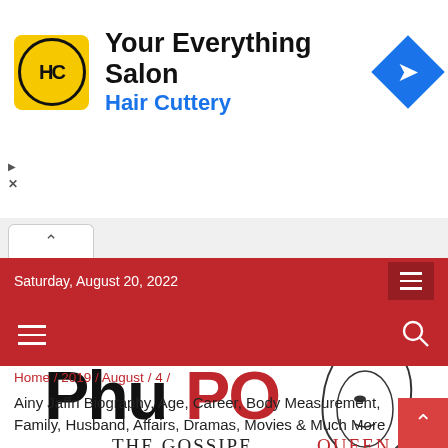[Figure (screenshot): Hair Cuttery advertisement banner with yellow logo, 'Your Everything Salon' text, blue 'Hair Cuttery' subtitle, and blue diamond arrow icon]
[Figure (logo): PhuPo The Gossipe Queen website logo with stylized text and woman silhouette illustration]
Saturday, August 20, 2022
Home / 2019 / August / 4 /
Ainy Jaffri Biography, Age, Career, Body Measurement, Family, Husband, Affairs, Dramas, Movies & Much More